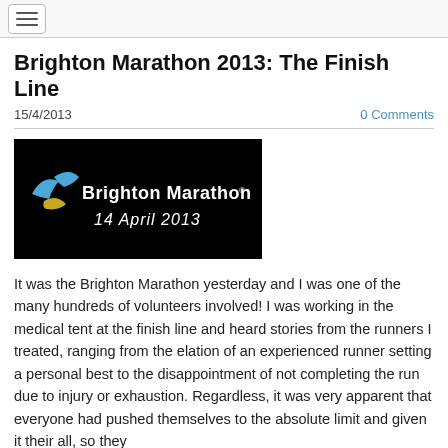Brighton Marathon 2013: The Finish Line
Brighton Marathon 2013: The Finish Line
15/4/2013
0 Comments
[Figure (logo): Brighton Marathon 14 April 2013 logo on black background with bird/wave graphic in blue and yellow]
It was the Brighton Marathon yesterday and I was one of the many hundreds of volunteers involved! I was working in the medical tent at the finish line and heard stories from the runners I treated, ranging from the elation of an experienced runner setting a personal best to the disappointment of not completing the run due to injury or exhaustion. Regardless, it was very apparent that everyone had pushed themselves to the absolute limit and given it their all, so they